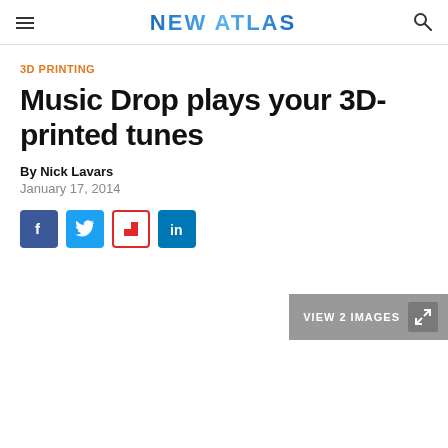NEW ATLAS
3D PRINTING
Music Drop plays your 3D-printed tunes
By Nick Lavars
January 17, 2014
[Figure (other): Social share buttons: Facebook, Twitter, Flipboard, LinkedIn]
[Figure (other): VIEW 2 IMAGES button with expand icon]